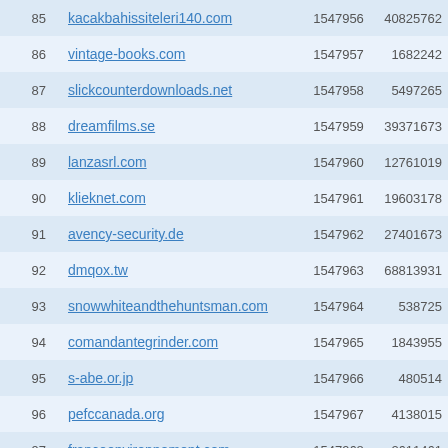| # | Domain | ID | Value |
| --- | --- | --- | --- |
| 85 | kacakbahissiteleri140.com | 1547956 | 40825762 |
| 86 | vintage-books.com | 1547957 | 1682242 |
| 87 | slickcounterdownloads.net | 1547958 | 5497265 |
| 88 | dreamfilms.se | 1547959 | 39371673 |
| 89 | lanzasrl.com | 1547960 | 12761019 |
| 90 | klieknet.com | 1547961 | 19603178 |
| 91 | avency-security.de | 1547962 | 27401673 |
| 92 | dmqox.tw | 1547963 | 68813931 |
| 93 | snowwhiteandthehuntsman.com | 1547964 | 538725 |
| 94 | comandantegrinder.com | 1547965 | 1843955 |
| 95 | s-abe.or.jp | 1547966 | 480514 |
| 96 | pefccanada.org | 1547967 | 4138015 |
| 97 | franceenvironnement.com | 1547968 | 2611461 |
| 98 | luckyjohn.ru | 1547969 | 9885844 |